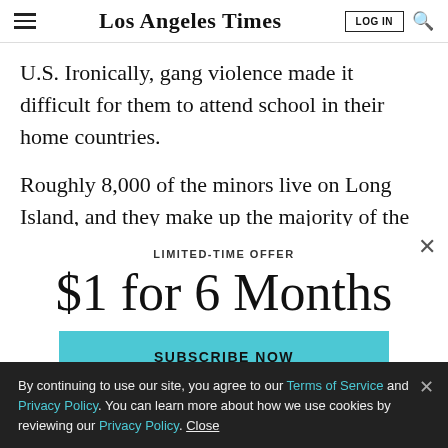Los Angeles Times
U.S. Ironically, gang violence made it difficult for them to attend school in their home countries.
Roughly 8,000 of the minors live on Long Island, and they make up the majority of the suspects arrested for
LIMITED-TIME OFFER
$1 for 6 Months
SUBSCRIBE NOW
By continuing to use our site, you agree to our Terms of Service and Privacy Policy. You can learn more about how we use cookies by reviewing our Privacy Policy. Close